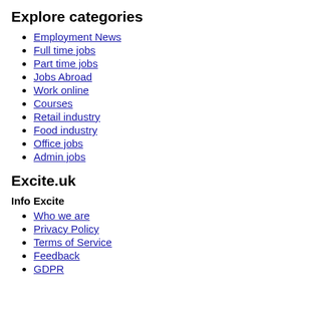Explore categories
Employment News
Full time jobs
Part time jobs
Jobs Abroad
Work online
Courses
Retail industry
Food industry
Office jobs
Admin jobs
Excite.uk
Info Excite
Who we are
Privacy Policy
Terms of Service
Feedback
GDPR